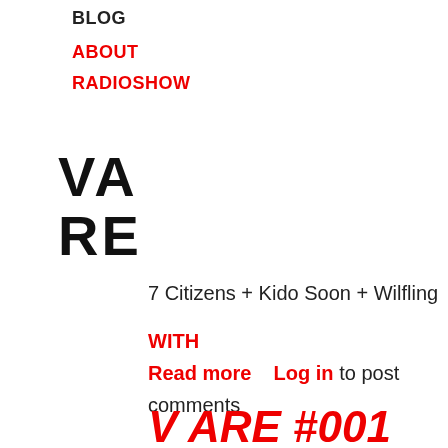BLOG
ABOUT
RADIOSHOW
[Figure (logo): VA RE logo in bold black stacked text]
7 Citizens + Kido Soon + Wilfling
WITH
Read more    Log in to post comments
V ARE #001